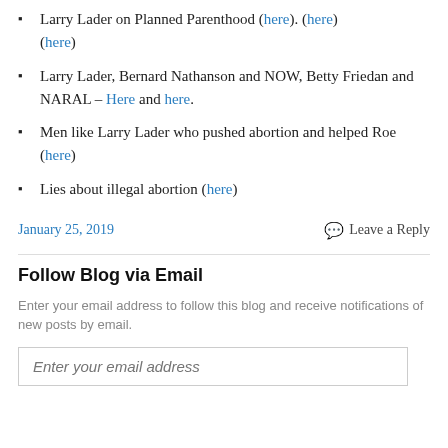Larry Lader on Planned Parenthood (here). (here) (here)
Larry Lader, Bernard Nathanson and NOW, Betty Friedan and NARAL – Here and here.
Men like Larry Lader who pushed abortion and helped Roe (here)
Lies about illegal abortion (here)
January 25, 2019    Leave a Reply
Follow Blog via Email
Enter your email address to follow this blog and receive notifications of new posts by email.
Enter your email address